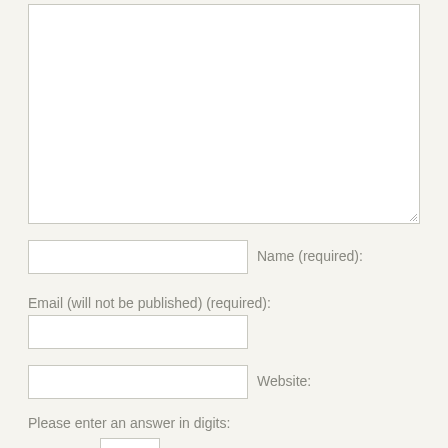[Figure (other): Large empty textarea input box with resize handle at bottom-right corner]
Name (required):
[Figure (other): Text input field for Name]
Email (will not be published) (required):
[Figure (other): Text input field for Email]
Website:
[Figure (other): Text input field for Website]
Please enter an answer in digits:
[Figure (other): Small text input field for digit answer, partially visible at bottom]